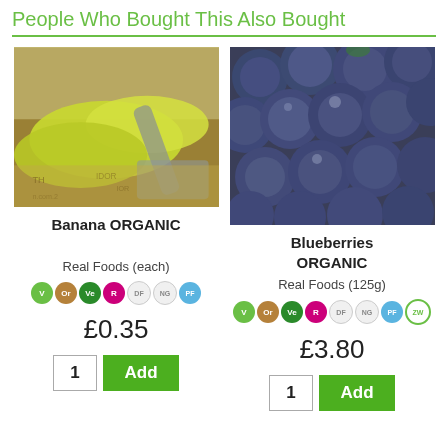People Who Bought This Also Bought
[Figure (photo): Yellow-green bananas on a scoop with newspaper background]
[Figure (photo): Fresh blueberries closeup]
Banana ORGANIC
Blueberries ORGANIC
Real Foods (each)
Real Foods (125g)
V Or Ve R DF NG PF
V Or Ve R DF NG PF ZW
£0.35
£3.80
1 Add
1 Add